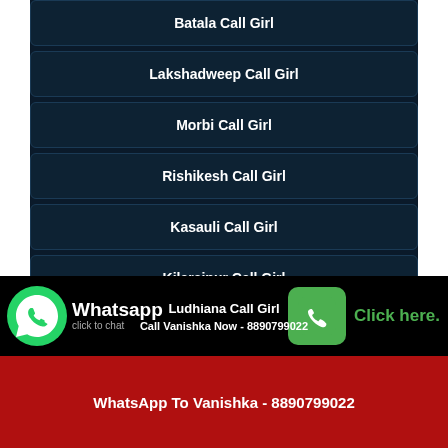Batala Call Girl
Lakshadweep Call Girl
Morbi Call Girl
Rishikesh Call Girl
Kasauli Call Girl
Kilaraipur Call Girl
Borivali Call Girl
Ludhiana Call Girl
Call Vanishka Now - 8890799022
WhatsApp To Vanishka - 8890799022